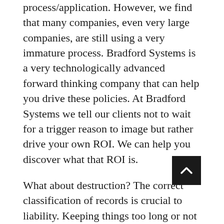process/application. However, we find that many companies, even very large companies, are still using a very immature process. Bradford Systems is a very technologically advanced forward thinking company that can help you drive these policies. At Bradford Systems we tell our clients not to wait for a trigger reason to image but rather drive your own ROI. We can help you discover what that ROI is.
What about destruction? The correct classification of records is crucial to liability. Keeping things too long or not long enough can create major litigation risks for companies. Sometimes the risks are so great that they can shutdown a successful company! NetTrax.NET has a full featured retention management system to classify, report against, and destroy records.
Many companies are looking for a magic product. What you really need is a refined process and a partner with years of experience in the industry. You get that from Bradford